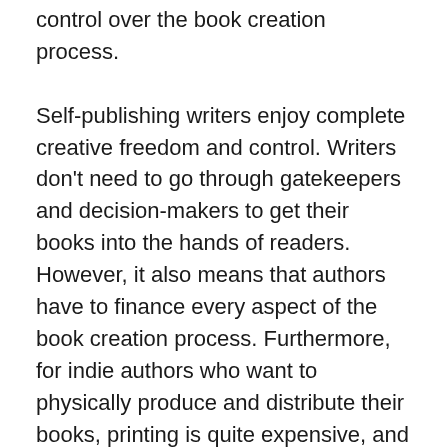control over the book creation process. Self-publishing writers enjoy complete creative freedom and control. Writers don't need to go through gatekeepers and decision-makers to get their books into the hands of readers. However, it also means that authors have to finance every aspect of the book creation process. Furthermore, for indie authors who want to physically produce and distribute their books, printing is quite expensive, and access to self-marketing and distribution channels can be overwhelming.
Self-publishing involves a lot of risk, which means there is also the potential for great rewards. For this reason, many indie authors choose to distribute their books digitally rather than risk investing large sums of money in printed material. Kindle Direct Publishing addresses this concern by providing a print-on-demand service. With this model, authors are still able to distribute physical